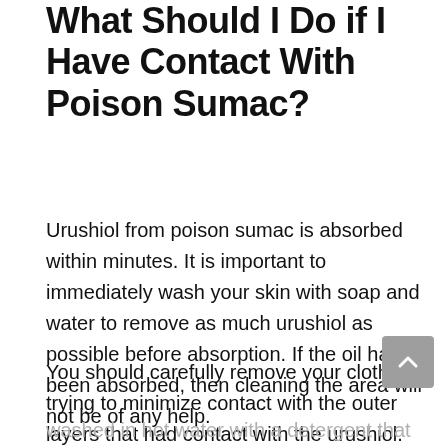What Should I Do if I Have Contact With Poison Sumac?
Urushiol from poison sumac is absorbed within minutes. It is important to immediately wash your skin with soap and water to remove as much urushiol as possible before absorption. If the oil has been absorbed, then cleaning the area will not be of any help.
You should carefully remove your clothing, trying to minimize contact with the outer layers that had contact with the urushiol. Your clothing should be washed in hot water with a detergent that removes oils.